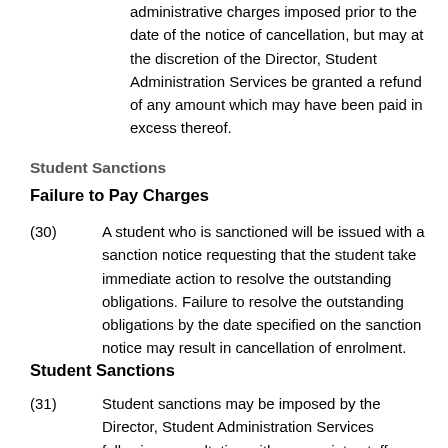administrative charges imposed prior to the date of the notice of cancellation, but may at the discretion of the Director, Student Administration Services be granted a refund of any amount which may have been paid in excess thereof.
Student Sanctions
Failure to Pay Charges
(30)   A student who is sanctioned will be issued with a sanction notice requesting that the student take immediate action to resolve the outstanding obligations. Failure to resolve the outstanding obligations by the date specified on the sanction notice may result in cancellation of enrolment.
Student Sanctions
(31)   Student sanctions may be imposed by the Director, Student Administration Services following consultation with appropriate staff. Student